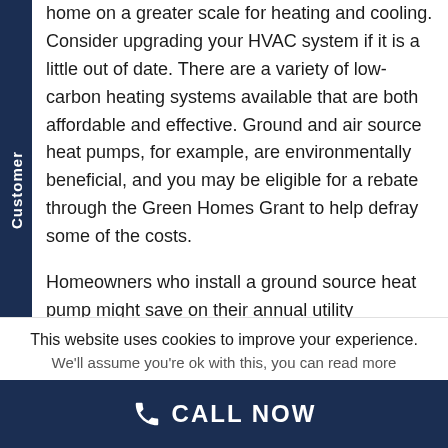home on a greater scale for heating and cooling. Consider upgrading your HVAC system if it is a little out of date. There are a variety of low-carbon heating systems available that are both affordable and effective. Ground and air source heat pumps, for example, are environmentally beneficial, and you may be eligible for a rebate through the Green Homes Grant to help defray some of the costs.
Homeowners who install a ground source heat pump might save on their annual utility expenditures. Investing in alternative energy sources could be a good idea as well. There are a
This website uses cookies to improve your experience. We'll assume you're ok with this, you can read more
CALL NOW